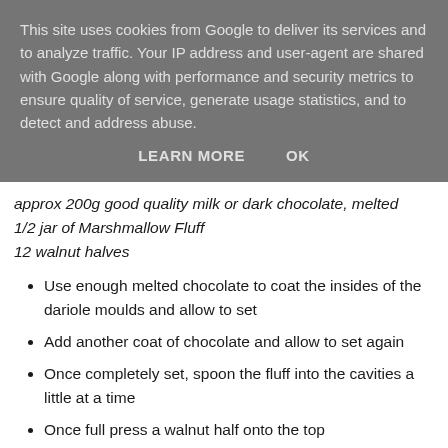This site uses cookies from Google to deliver its services and to analyze traffic. Your IP address and user-agent are shared with Google along with performance and security metrics to ensure quality of service, generate usage statistics, and to detect and address abuse.
LEARN MORE   OK
approx 200g good quality milk or dark chocolate, melted
1/2 jar of Marshmallow Fluff
12 walnut halves
Use enough melted chocolate to coat the insides of the dariole moulds and allow to set
Add another coat of chocolate and allow to set again
Once completely set, spoon the fluff into the cavities a little at a time
Once full press a walnut half onto the top
Use more melted chocolate to cover the fluff  and walnut